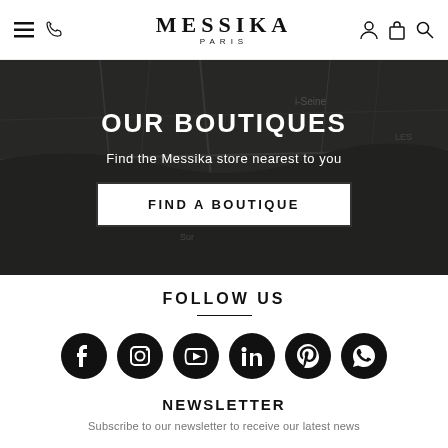MESSIKA PARIS
[Figure (screenshot): Dark map background showing Paris area with overlay text OUR BOUTIQUES and subtitle Find the Messika store nearest to you, with a white FIND A BOUTIQUE button]
FOLLOW US
[Figure (infographic): Row of six black circular social media icons: Facebook, Instagram, YouTube, LinkedIn, Pinterest, WhatsApp]
NEWSLETTER
Subscribe to our newsletter to receive our latest news